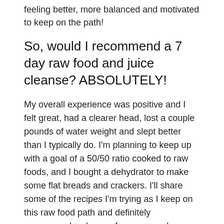feeling better, more balanced and motivated to keep on the path!
So, would I recommend a 7 day raw food and juice cleanse? ABSOLUTELY!
My overall experience was positive and I felt great, had a clearer head, lost a couple pounds of water weight and slept better than I typically do. I'm planning to keep up with a goal of a 50/50 ratio cooked to raw foods, and I bought a dehydrator to make some flat breads and crackers. I'll share some of the recipes I'm trying as I keep on this raw food path and definitely recommend a cleanse for anyone who wants to give your system a nice little reboot 🙂